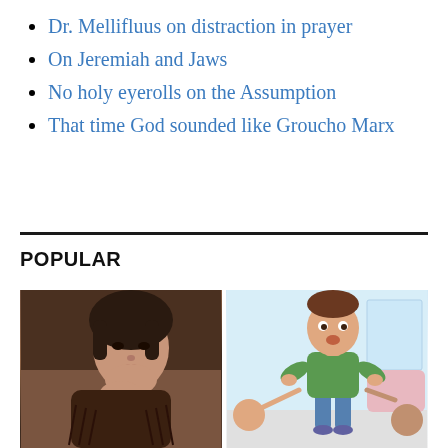Dr. Mellifluus on distraction in prayer
On Jeremiah and Jaws
No holy eyerolls on the Assumption
That time God sounded like Groucho Marx
POPULAR
[Figure (photo): Portrait photograph of a woman with short dark hair, wearing a dark brown fringed jacket, resting chin on hand]
[Figure (illustration): Cartoon illustration of a young man in a green t-shirt and jeans standing with hands on hips, with other cartoon figures pointing at him in a living room setting]
[Figure (photo): Dark photograph, partially visible at bottom of page]
[Figure (photo): Dark photograph of what appears to be a nighttime or indoor scene, partially visible at bottom of page]